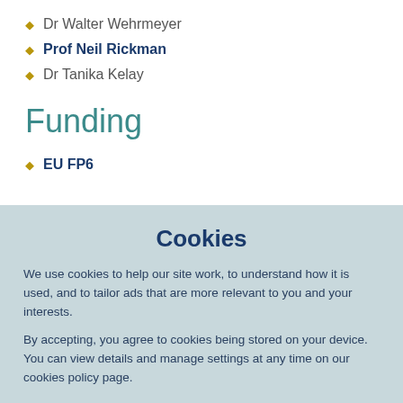Dr Walter Wehrmeyer
Prof Neil Rickman
Dr Tanika Kelay
Funding
EU FP6
Cookies
We use cookies to help our site work, to understand how it is used, and to tailor ads that are more relevant to you and your interests.
By accepting, you agree to cookies being stored on your device. You can view details and manage settings at any time on our cookies policy page.